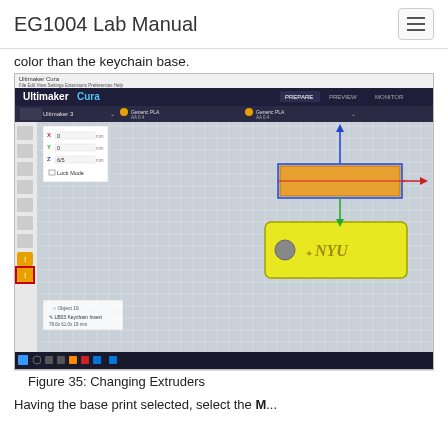EG1004 Lab Manual
color than the keychain base.
[Figure (screenshot): Screenshot of Ultimaker Cura 3D printing software showing two objects on the print bed: an orange rectangular insert (top extruder) and a yellow keychain base with NYU text. The second extruder icon is highlighted with a red border in the left sidebar. The properties panel shows X: 0, Y: 0, Z: 6/5 coordinates with Lock Mode checkbox.]
Figure 35: Changing Extruders
Having the base print selected, select the